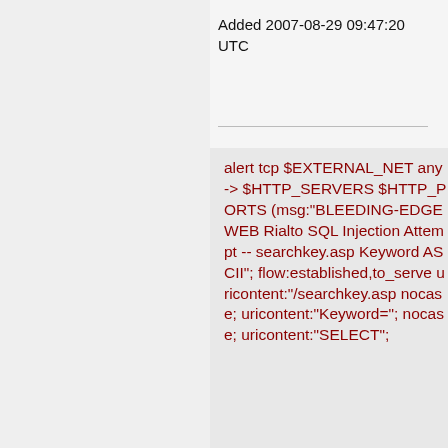Added 2007-08-29 09:47:20 UTC
alert tcp $EXTERNAL_NET any -> $HTTP_SERVERS $HTTP_PORTS (msg:"BLEEDING-EDGE WEB Rialto SQL Injection Attempt -- searchkey.asp Keyword ASCII"; flow:established,to_server; uricontent:"/searchkey.asp"; nocase; uricontent:"Keyword="; nocase; uricontent:"SELECT";